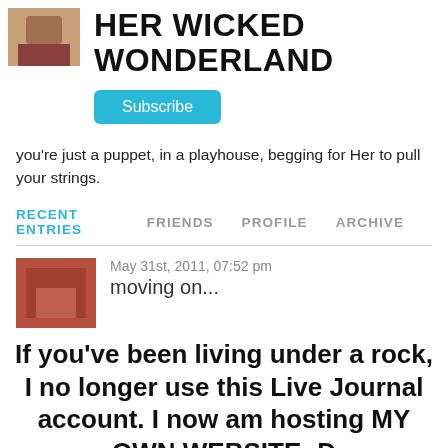HER WICKED WONDERLAND
Subscribe
you're just a puppet, in a playhouse, begging for Her to pull your strings.
RECENT ENTRIES  FRIENDS  PROFILE  ARCHIVE
[Figure (photo): Small thumbnail photo of blog entry]
May 31st, 2011, 07:52 pm
moving on...
If you've been living under a rock, I no longer use this Live Journal account. I now am hosting MY OWN WEBSITE :D